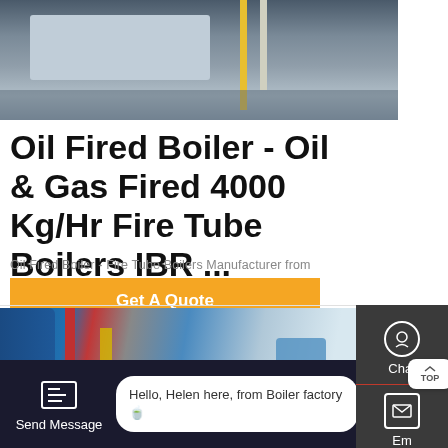[Figure (photo): Industrial boiler/machinery photograph showing industrial equipment with yellow pipe accent]
Oil Fired Boiler - Oil & Gas Fired 4000 Kg/Hr Fire Tube Boilers IBR ...
Oil Fired Boiler - Fire Tube Boilers Manufacturer from
Get A Quote
[Figure (photo): Industrial boiler facility interior photo showing blue boiler, red pipes and industrial equipment]
Chat
Email
Contact
Send Message
Hello, Helen here, from Boiler factory 🍵
Inquiry Online